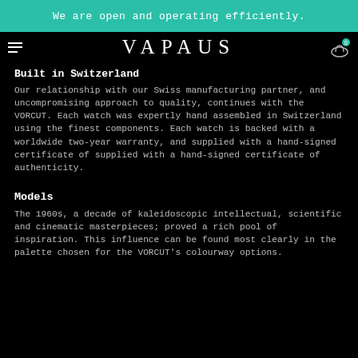We are open and operating efficiently.
Built in Switzerland
Our relationship with our Swiss manufacturing partner, and uncompromising approach to quality, continues with the VORCUT. Each watch was expertly hand assembled in Switzerland using the finest components. Each watch is backed with a worldwide two-year warranty, and supplied with a hand-signed certificate of supplied with a hand-signed certificate of authenticity.
Models
The 1960s, a decade of kaleidoscopic intellectual, scientific and cinematic masterpieces; proved a rich pool of inspiration. This influence can be found most clearly in the palette chosen for the VORCUT's colourway options.